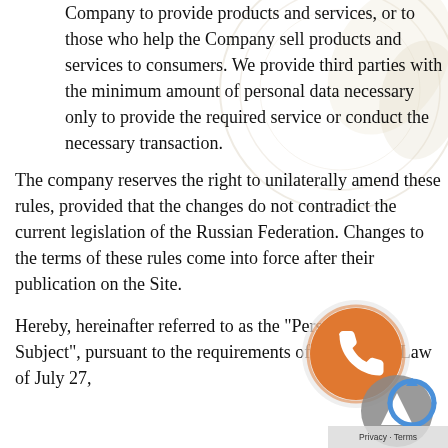Company to provide products and services, or to those who help the Company sell products and services to consumers. We provide third parties with the minimum amount of personal data necessary only to provide the required service or conduct the necessary transaction.
The company reserves the right to unilaterally amend these rules, provided that the changes do not contradict the current legislation of the Russian Federation. Changes to the terms of these rules come into force after their publication on the Site.
Hereby, hereinafter referred to as the "Personal Data Subject", pursuant to the requirements of the Federal Law of July 27,